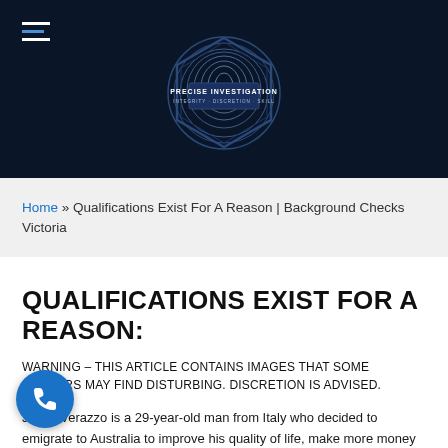Precise Investigation — INTEGRITY · DISCRETION · SKILL
Home » Qualifications Exist For A Reason | Background Checks Victoria
QUALIFICATIONS EXIST FOR A REASON:
WARNING – THIS ARTICLE CONTAINS IMAGES THAT SOME READERS MAY FIND DISTURBING. DISCRETION IS ADVISED.
Jonny Verazzo is a 29-year-old man from Italy who decided to emigrate to Australia to improve his quality of life, make more money for his family back in Sicily and try his hand at one day having them join him here.
Mr. Verazzo came over on a Working Holiday Visa, subclass 417, and having been working as a carpenter's apprentice for the majority of his